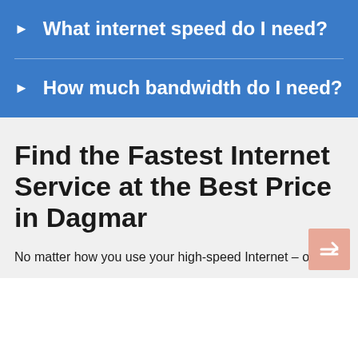What internet speed do I need?
How much bandwidth do I need?
Find the Fastest Internet Service at the Best Price in Dagmar
No matter how you use your high-speed Internet – online